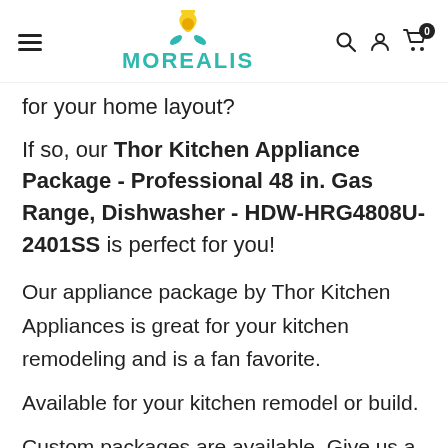MOREALIS
for your home layout?
If so, our Thor Kitchen Appliance Package - Professional 48 in. Gas Range, Dishwasher - HDW-HRG4808U-2401SS is perfect for you!
Our appliance package by Thor Kitchen Appliances is great for your kitchen remodeling and is a fan favorite.
Available for your kitchen remodel or build.
Custom packages are available. Give us a call at